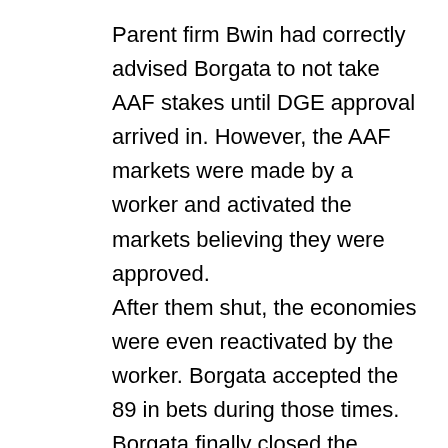Parent firm Bwin had correctly advised Borgata to not take AAF stakes until DGE approval arrived in. However, the AAF markets were made by a worker and activated the markets believing they were approved. After them shut, the economies were even reactivated by the worker. Borgata accepted the 89 in bets during those times. Borgata finally closed the markets and voided the stakes. The DGE stated the actions of Borgata represent a failure to obey the regulations regarding sports wagering on sporting events that were prohibited and civic. It enforced that that the fine . The first game of this brief AAF regular year happened on Feb. 9. DraftKings Sportsbook